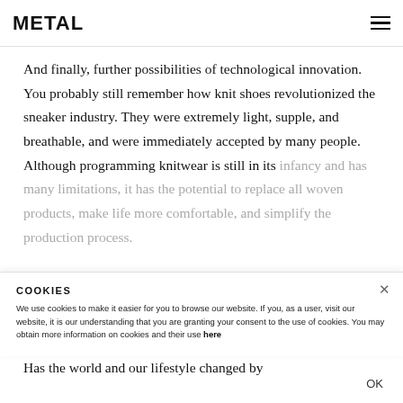METAL
And finally, further possibilities of technological innovation. You probably still remember how knit shoes revolutionized the sneaker industry. They were extremely light, supple, and breathable, and were immediately accepted by many people. Although programming knitwear is still in its infancy and has many limitations, it has the potential to replace all woven products, make life more comfortable, and simplify the production process.
COOKIES
We use cookies to make it easier for you to browse our website. If you, as a user, visit our website, it is our understanding that you are granting your consent to the use of cookies. You may obtain more information on cookies and their use here
OK
Has the world and our lifestyle changed by...